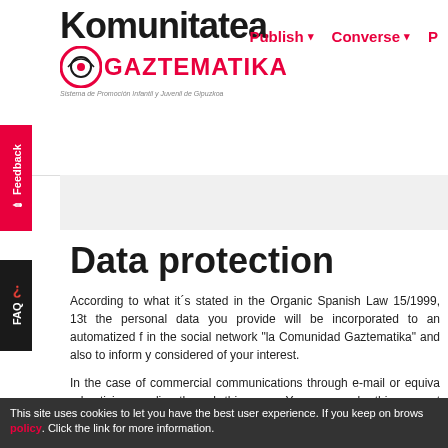Komunitatea Gaztematika — Publish ▾  Converse ▾  P
Data protection
According to what it´s stated in the Organic Spanish Law 15/1999, 13t the personal data you provide will be incorporated to an automatized f in the social network "la Comunidad Gaztematika" and also to inform y considered of your interest.
In the case of commercial communications through e-mail or equiva advertising sending through this mean. You can revoke this consent at a
Last, we inform that you can execute your rights of access, rectification
We also inform you that in order to offer you a better service, such as k again when you come back to our social network, we register a perma drive cookies, block them or receive and alert before saving a cookie.
This site uses cookies to let you have the best user experience. If you keep on brows policy. Click the link for more information.